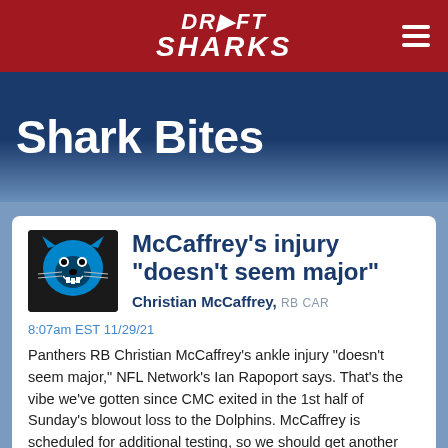DRAFT SHARKS
Shark Bites
McCaffrey's injury "doesn't seem major"
Christian McCaffrey, RB CAR
8:07am EST 11/29/21
Panthers RB Christian McCaffrey's ankle injury "doesn't seem major," NFL Network's Ian Rapoport says. That's the vibe we've gotten since CMC exited in the 1st half of Sunday's blowout loss to the Dolphins. McCaffrey is scheduled for additional testing, so we should get another update on his